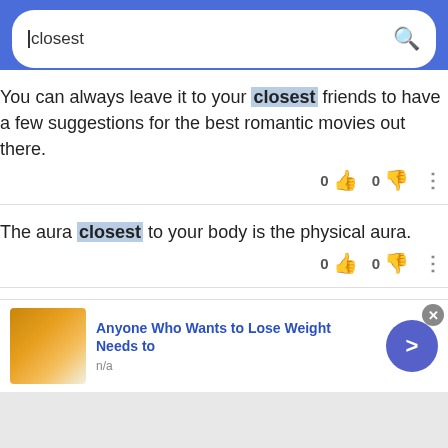[Figure (screenshot): Search bar with blue background showing the query 'closest' with a search icon]
You can always leave it to your closest friends to have a few suggestions for the best romantic movies out there.
The aura closest to your body is the physical aura.
Just as important as how you feel about the process is how your loved ones or those closest to you feel about it.
[Figure (screenshot): Advertisement banner: 'Anyone Who Wants to Lose Weight Needs to' with food image and navigation arrow]